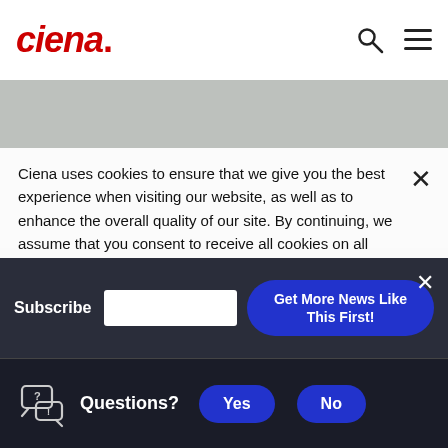Ciena
Ciena uses cookies to ensure that we give you the best experience when visiting our website, as well as to enhance the overall quality of our site. By continuing, we assume that you consent to receive all cookies on all Ciena websites. To consent to receive all cookies on all Ciena websites, click I acknowledge. To learn more, view our privacy policy.
Subscribe | [email input] | Get More News Like This First!
Questions? Yes No